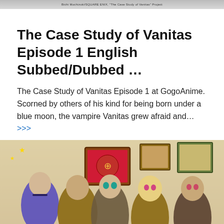Bichi Mochizuki/SQUARE ENIX, "The Case Study of Vanitas" Project
The Case Study of Vanitas Episode 1 English Subbed/Dubbed …
The Case Study of Vanitas Episode 1 at GogoAnime. Scorned by others of his kind for being born under a blue moon, the vampire Vanitas grew afraid and… >>>
[Figure (illustration): Anime illustration from The Case Study of Vanitas showing multiple characters in Victorian-style clothing with colorful artwork and framed pictures on the wall behind them.]